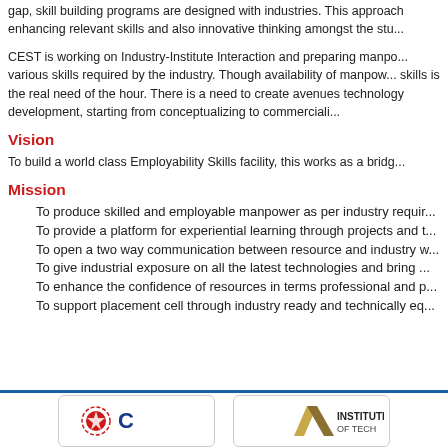gap, skill building programs are designed with industries. This approach enhancing relevant skills and also innovative thinking amongst the students.
CEST is working on Industry-Institute Interaction and preparing manpower with various skills required by the industry. Though availability of manpower with skills is the real need of the hour. There is a need to create avenues for technology development, starting from conceptualizing to commercializing.
Vision
To build a world class Employability Skills facility, this works as a bridge
Mission
To produce skilled and employable manpower as per industry requirements
To provide a platform for experiential learning through projects and training
To open a two way communication between resource and industry with
To give industrial exposure on all the latest technologies and bring
To enhance the confidence of resources in terms professional and personal
To support placement cell through industry ready and technically equipped
[Figure (logo): Two institutional logos in rounded rectangle boxes at the bottom of the page, one with a red seal emblem and blue text, another with a gold diagonal shape and dark text.]